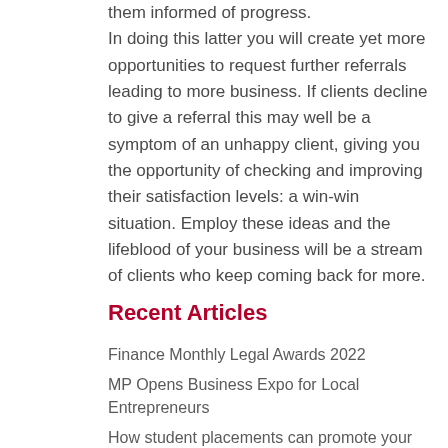them informed of progress.
In doing this latter you will create yet more opportunities to request further referrals leading to more business. If clients decline to give a referral this may well be a symptom of an unhappy client, giving you the opportunity of checking and improving their satisfaction levels: a win-win situation. Employ these ideas and the lifeblood of your business will be a stream of clients who keep coming back for more.
Recent Articles
Finance Monthly Legal Awards 2022
MP Opens Business Expo for Local Entrepreneurs
How student placements can promote your business
Brighton Economic Growth Expected To Soar